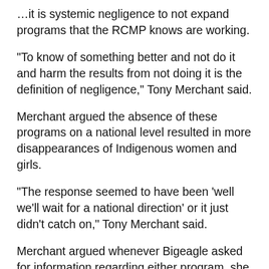…it is systemic negligence to not expand programs that the RCMP knows are working.
"To know of something better and not do it and harm the results from not doing it is the definition of negligence," Tony Merchant said.
Merchant argued the absence of these programs on a national level resulted in more disappearances of Indigenous women and girls.
"The response seemed to have been 'well we'll wait for a national direction' or it just didn't catch on," Tony Merchant said.
Merchant argued whenever Bigeagle asked for information regarding either program, she was denied.
He also argued a significant part of investigations is to bring closure to families, saying people like the children and grandchildren of the victims are entitled to